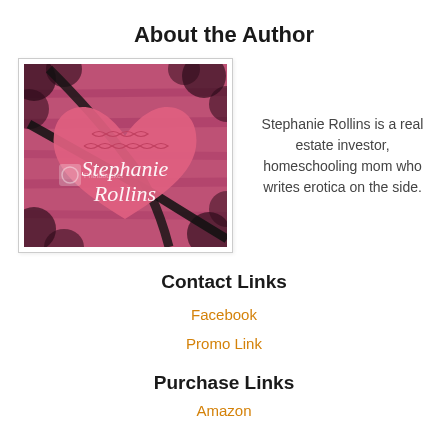About the Author
[Figure (photo): Author photo/book cover image showing a pink knitted heart on a pink floral background with black ribbon, overlaid with the text 'Stephanie Rollins' in white italic script, and a Photobucket watermark]
Stephanie Rollins is a real estate investor, homeschooling mom who writes erotica on the side.
Contact Links
Facebook
Promo Link
Purchase Links
Amazon